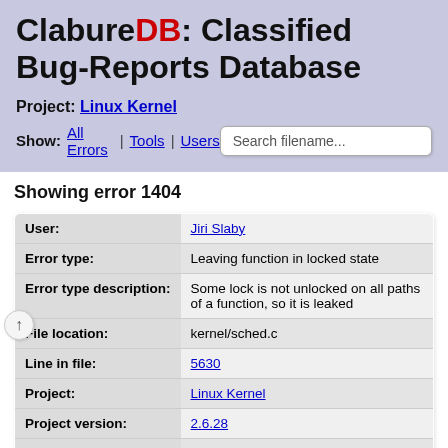ClabureDB: Classified Bug-Reports Database
Project: Linux Kernel
Show: All Errors | Tools | Users
Showing error 1404
| Field | Value |
| --- | --- |
| User: | Jiri Slaby |
| Error type: | Leaving function in locked state |
| Error type description: | Some lock is not unlocked on all paths of a function, so it is leaked |
| File location: | kernel/sched.c |
| Line in file: | 5630 |
| Project: | Linux Kernel |
| Project version: | 2.6.28 |
| Tools: | Stanse (1.2) |
| Entered: | 2012-05-21 20:30:05 UTC |